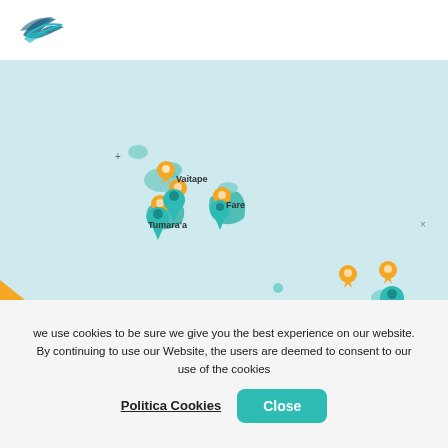[Figure (logo): Travel/transport company logo with stylized bird/wing shape in teal/dark blue]
[Figure (map): Map of French Polynesia islands (Bora Bora, Huahine areas) with teal island shapes and orange/yellow pin markers on light blue/teal sea background. Shows locations: Vaitape, Tumara'a, Fare, Paea. Orange diagonal corner banner with 'Save' text.]
we use cookies to be sure we give you the best experience on our website. By continuing to use our Website, the users are deemed to consent to our use of the cookies
Politica Cookies
Close